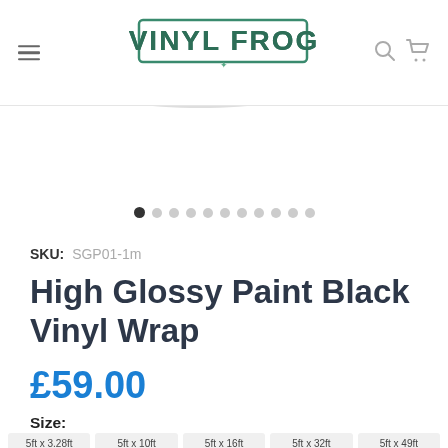Vinyl Frog — navigation bar with hamburger menu, logo, search and cart icons
[Figure (photo): Partial view of a rolled grey/black vinyl wrap product seen from above, positioned in the top portion of the page behind the navigation bar]
[Figure (other): Carousel pagination dots: 11 dots, first one filled dark, rest light grey]
SKU: SGP01-1m
High Glossy Paint Black Vinyl Wrap
£59.00
Size:
5ft x 3.28ft
5ft x 10ft
5ft x 16ft
5ft x 32ft
5ft x 49ft